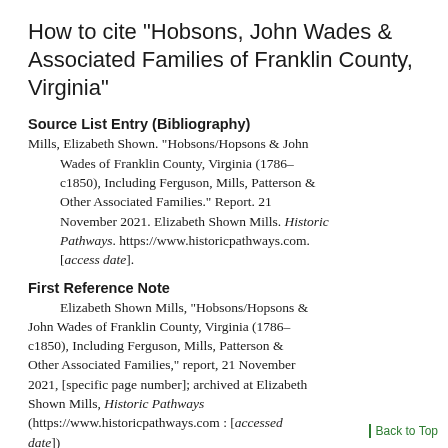How to cite "Hobsons, John Wades & Associated Families of Franklin County, Virginia"
Source List Entry (Bibliography)
Mills, Elizabeth Shown. "Hobsons/Hopsons & John Wades of Franklin County, Virginia (1786–c1850), Including Ferguson, Mills, Patterson & Other Associated Families." Report. 21 November 2021. Elizabeth Shown Mills. Historic Pathways. https://www.historicpathways.com. [access date].
First Reference Note
Elizabeth Shown Mills, "Hobsons/Hopsons & John Wades of Franklin County, Virginia (1786–c1850), Including Ferguson, Mills, Patterson & Other Associated Families," report, 21 November 2021, [specific page number]; archived at Elizabeth Shown Mills, Historic Pathways (https://www.historicpathways.com : [accessed date])
Back to Top